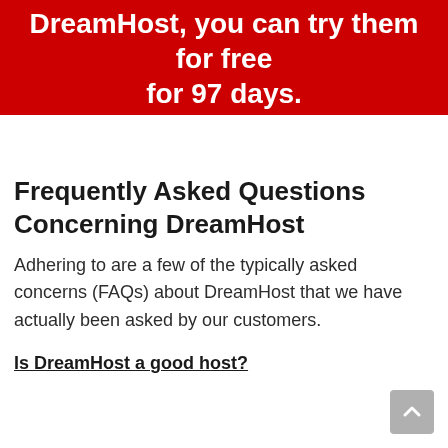DreamHost, you can try them for free for 97 days.
Frequently Asked Questions Concerning DreamHost
Adhering to are a few of the typically asked concerns (FAQs) about DreamHost that we have actually been asked by our customers.
Is DreamHost a good host?